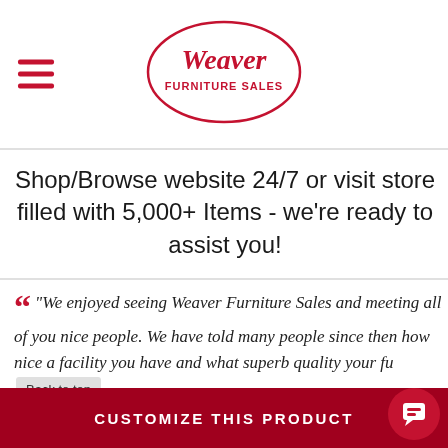[Figure (logo): Weaver Furniture Sales logo — oval outline in red with cursive 'Weaver' and bold 'FURNITURE SALES' text inside]
Shop/Browse website 24/7 or visit store filled with 5,000+ Items - we're ready to assist you!
“We enjoyed seeing Weaver Furniture Sales and meeting all of you nice people. We have told many people since then how nice a facility you have and what superb quality your fu
Back to top
CUSTOMIZE THIS PRODUCT